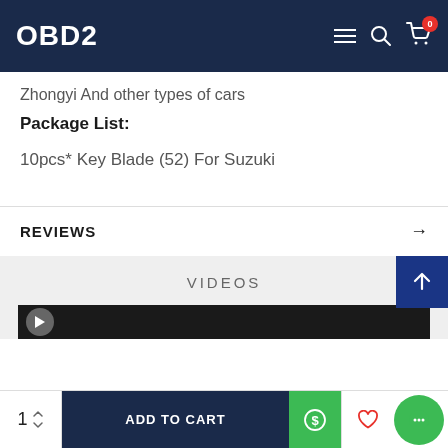OBD2
Zhongyi And other types of cars
Package List:
10pcs* Key Blade (52) For Suzuki
REVIEWS →
VIDEOS
ADD TO CART